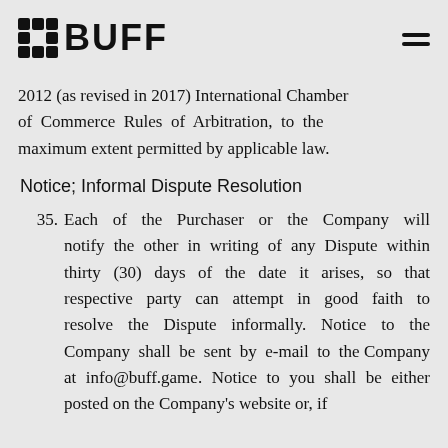BUFF [logo] ≡
Resolution; Arbitration) will be both substantively and procedurally governed by and construed and enforced in accordance with the 2012 (as revised in 2017) International Chamber of Commerce Rules of Arbitration, to the maximum extent permitted by applicable law.
Notice; Informal Dispute Resolution
35. Each of the Purchaser or the Company will notify the other in writing of any Dispute within thirty (30) days of the date it arises, so that respective party can attempt in good faith to resolve the Dispute informally. Notice to the Company shall be sent by e-mail to the Company at info@buff.game. Notice to you shall be either posted on the Company's website or, if